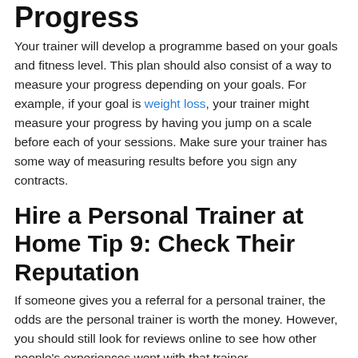Progress
Your trainer will develop a programme based on your goals and fitness level. This plan should also consist of a way to measure your progress depending on your goals. For example, if your goal is weight loss, your trainer might measure your progress by having you jump on a scale before each of your sessions. Make sure your trainer has some way of measuring results before you sign any contracts.
Hire a Personal Trainer at Home Tip 9: Check Their Reputation
If someone gives you a referral for a personal trainer, the odds are the personal trainer is worth the money. However, you should still look for reviews online to see how other people's experiences went with that trainer.
Make sure you scour the internet to read as many reviews as possible on your next hire trainer. A great place to start